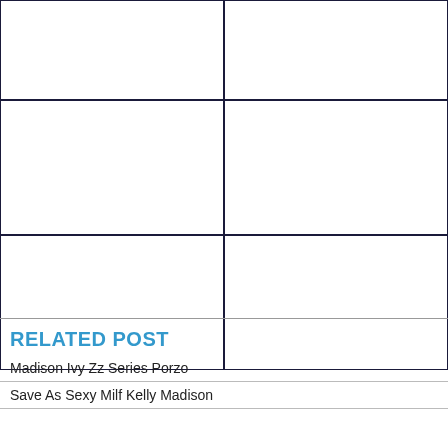[Figure (other): A 3x2 grid of empty rectangular image placeholder cells with dark blue-black borders arranged in three rows of two columns]
RELATED POST
Madison Ivy Zz Series Porzo
Save As Sexy Milf Kelly Madison